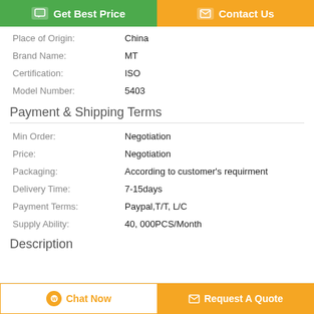[Figure (other): Two buttons: 'Get Best Price' (green) and 'Contact Us' (orange)]
| Place of Origin: | China |
| Brand Name: | MT |
| Certification: | ISO |
| Model Number: | 5403 |
Payment & Shipping Terms
| Min Order: | Negotiation |
| Price: | Negotiation |
| Packaging: | According to customer's requirment |
| Delivery Time: | 7-15days |
| Payment Terms: | Paypal,T/T, L/C |
| Supply Ability: | 40, 000PCS/Month |
Description
[Figure (other): Two bottom buttons: 'Chat Now' (white/orange outline) and 'Request A Quote' (orange)]